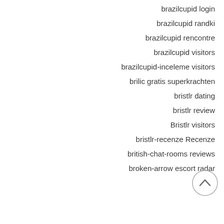brazilcupid login
brazilcupid randki
brazilcupid rencontre
brazilcupid visitors
brazilcupid-inceleme visitors
brilic gratis superkrachten
bristlr dating
bristlr review
Bristlr visitors
bristlr-recenze Recenze
british-chat-rooms reviews
broken-arrow escort radar